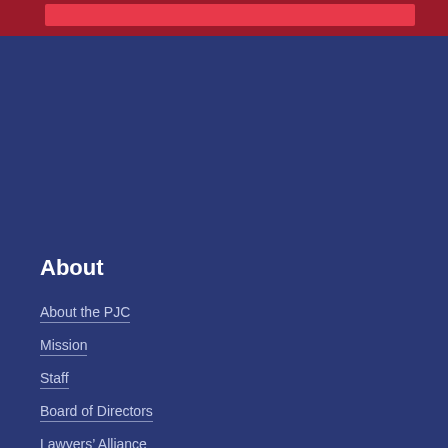About
About the PJC
Mission
Staff
Board of Directors
Lawyers' Alliance
Leadership Council
Financials and Annual Reports
Press Room
Contact
Privacy Policy